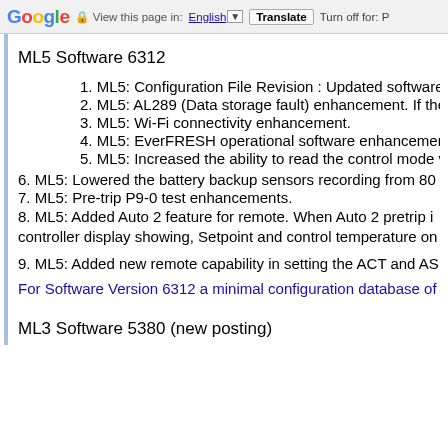Google  View this page in: English  Translate  Turn off for: P
ML5 Software 6312
1. ML5: Configuration File Revision : Updated software to
2. ML5: AL289 (Data storage fault) enhancement. If the a
3. ML5: Wi-Fi connectivity enhancement.
4. ML5: EverFRESH operational software enhancements.
5. ML5: Increased the ability to read the control mode via
6. ML5: Lowered the battery backup sensors recording from 80
7. ML5: Pre-trip P9-0 test enhancements.
8. ML5: Added Auto 2 feature for remote. When Auto 2 pretrip i controller display showing, Setpoint and control temperature on
9. ML5: Added new remote capability in setting the ACT and AS
For Software Version 6312 a minimal configuration database of
ML3 Software 5380 (new posting)